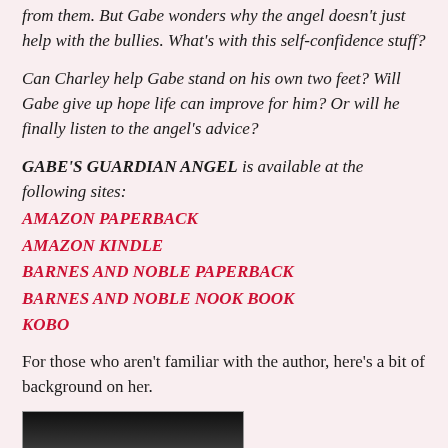from them. But Gabe wonders why the angel doesn't just help with the bullies. What's with this self-confidence stuff?
Can Charley help Gabe stand on his own two feet? Will Gabe give up hope life can improve for him? Or will he finally listen to the angel's advice?
GABE'S GUARDIAN ANGEL is available at the following sites:
AMAZON PAPERBACK
AMAZON KINDLE
BARNES AND NOBLE PAPERBACK
BARNES AND NOBLE NOOK BOOK
KOBO
For those who aren't familiar with the author, here's a bit of background on her.
[Figure (photo): A dark photo showing a person, partially visible at the bottom of the page]